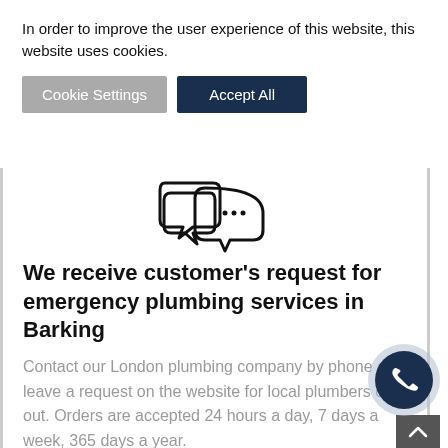In order to improve the user experience of this website, this website uses cookies.
Cookie Settings
Accept All
[Figure (illustration): Speech bubble / comments icon in outline style]
We receive customer’s request for emergency plumbing services in Barking
Contact our London plumbing company by phone or leave a request on the website for local plumbers call out. Orders are accepted 24 hours a day, 7 days a week, 365 days a year.